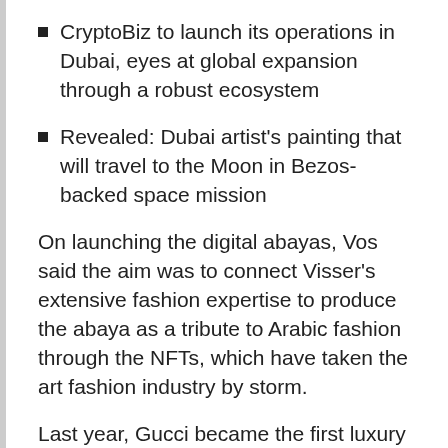CryptoBiz to launch its operations in Dubai, eyes at global expansion through a robust ecosystem
Revealed: Dubai artist's painting that will travel to the Moon in Bezos-backed space mission
On launching the digital abayas, Vos said the aim was to connect Visser’s extensive fashion expertise to produce the abaya as a tribute to Arabic fashion through the NFTs, which have taken the art fashion industry by storm.
Last year, Gucci became the first luxury brand to delve into the forays of NFTs when it partnered with the art auction house Christie’s on an NFT video called “Aria,” which sold for $25,000 in June.